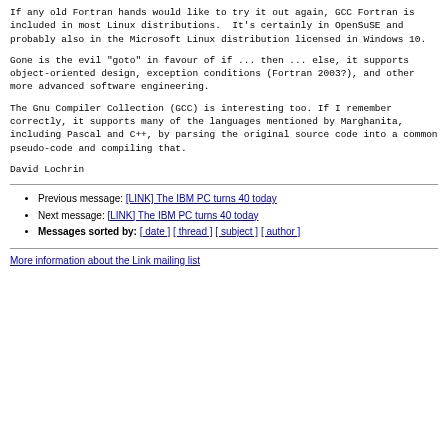If any old Fortran hands would like to try it out again, GCC Fortran is included in most Linux distributions.  It's certainly in OpenSuSE and probably also in the Microsoft Linux distribution licensed in Windows 10.
Gone is the evil "goto" in favour of if ... then ... else, it supports object-oriented design, exception conditions (Fortran 2003?), and other more advanced software engineering.
The Gnu Compiler Collection (GCC) is interesting too. If I remember correctly, it supports many of the languages mentioned by Marghanita, including Pascal and C++, by parsing the original source code into a common pseudo-code and compiling that.
David Lochrin
Previous message: [LINK] The IBM PC turns 40 today
Next message: [LINK] The IBM PC turns 40 today
Messages sorted by: [ date ] [ thread ] [ subject ] [ author ]
More information about the Link mailing list